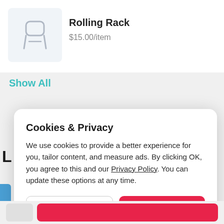[Figure (illustration): Product listing card showing a rolling rack item with a chair/rack icon in a light blue-gray box, product name 'Rolling Rack' and price '$15.00/item']
Rolling Rack
$15.00/item
Show All
Cookies & Privacy
We use cookies to provide a better experience for you, tailor content, and measure ads. By clicking OK, you agree to this and our Privacy Policy. You can update these options at any time.
Cookie Preferences
OK